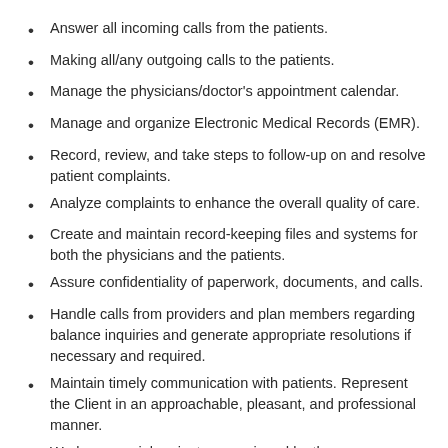Answer all incoming calls from the patients.
Making all/any outgoing calls to the patients.
Manage the physicians/doctor's appointment calendar.
Manage and organize Electronic Medical Records (EMR).
Record, review, and take steps to follow-up on and resolve patient complaints.
Analyze complaints to enhance the overall quality of care.
Create and maintain record-keeping files and systems for both the physicians and the patients.
Assure confidentiality of paperwork, documents, and calls.
Handle calls from providers and plan members regarding balance inquiries and generate appropriate resolutions if necessary and required.
Maintain timely communication with patients. Represent the Client in an approachable, pleasant, and professional manner.
Work on special projects as assigned by the